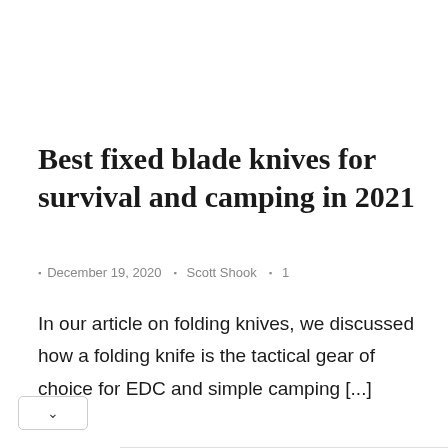Best fixed blade knives for survival and camping in 2021
December 19, 2020 · Scott Shook · 1
In our article on folding knives, we discussed how a folding knife is the tactical gear of choice for EDC and simple camping [...]